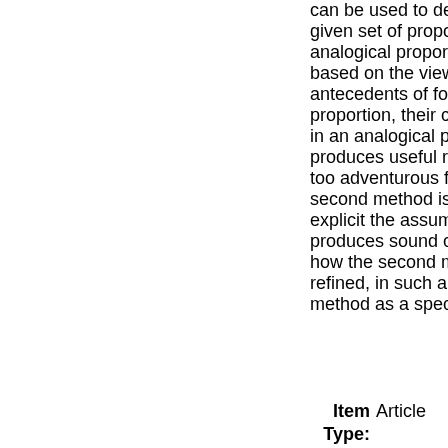can be used to derive plausible rules from a given set of propositional rules and a set of analogical proportions. The first method is based on the view that whenever the antecedents of four rules are in an analogical proportion, their consequences are likely to be in an analogical proportion as well. It often produces useful results, although it may be too adventurous for some applications. The second method is more cautious and makes explicit the assumptions under which it produces sound conclusions. Finally, we show how the second method may be further refined, in such a way that we recover the first method as a special case.
Item Type: Article